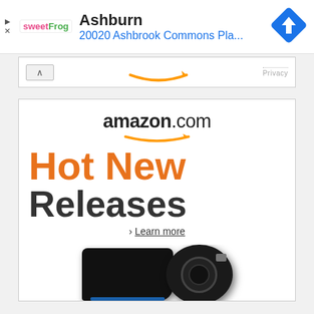[Figure (screenshot): Top advertisement bar with sweetFrog logo, 'Ashburn' city name, '20020 Ashbrook Commons Pla...' address in blue, blue diamond navigation icon on right, play and X controls on left]
[Figure (screenshot): Amazon partial collapsed ad bar showing upward arrow, Amazon smile logo partial, and Privacy text]
[Figure (advertisement): Amazon.com Hot New Releases advertisement with amazon.com logo, orange 'Hot New' text, dark 'Releases' text, Learn more link, and PS4 console and camera products at the bottom]